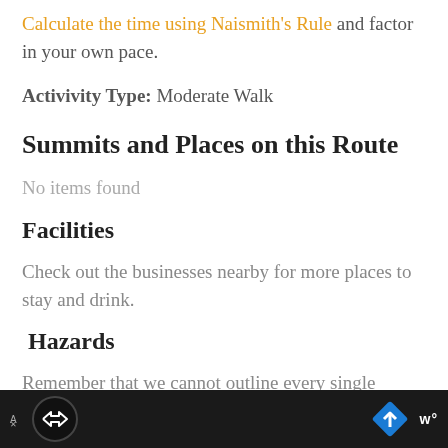Calculate the time using Naismith's Rule and factor in your own pace.
Activivity Type: Moderate Walk
Summits and Places on this Route
No items found
Facilities
Check out the businesses nearby for more places to stay and drink.
Hazards
Remember that we cannot outline every single hazard on a walk – it's up to you to be safe and
[Figure (other): Advertisement bar at bottom with dark background, circular icon with arrows logo on left, blue diamond turn icon and 'w°' text on right]